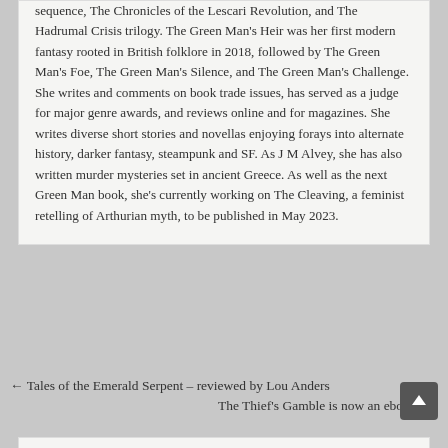sequence, The Chronicles of the Lescari Revolution, and The Hadrumal Crisis trilogy. The Green Man's Heir was her first modern fantasy rooted in British folklore in 2018, followed by The Green Man's Foe, The Green Man's Silence, and The Green Man's Challenge. She writes and comments on book trade issues, has served as a judge for major genre awards, and reviews online and for magazines. She writes diverse short stories and novellas enjoying forays into alternate history, darker fantasy, steampunk and SF. As J M Alvey, she has also written murder mysteries set in ancient Greece. As well as the next Green Man book, she's currently working on The Cleaving, a feminist retelling of Arthurian myth, to be published in May 2023.
← Tales of the Emerald Serpent – reviewed by Lou Anders
The Thief's Gamble is now an ebook! →